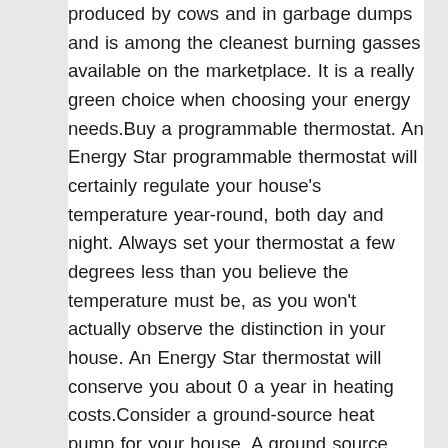produced by cows and in garbage dumps and is among the cleanest burning gasses available on the marketplace. It is a really green choice when choosing your energy needs.Buy a programmable thermostat. An Energy Star programmable thermostat will certainly regulate your house's temperature year-round, both day and night. Always set your thermostat a few degrees less than you believe the temperature must be, as you won't actually observe the distinction in your house. An Energy Star thermostat will conserve you about 0 a year in heating costs.Consider a ground-source heat pump for your house. A ground source heat pump makes use of the constant temperature level of the ground in order to heat and cool the house. The ground temperature will be warmer than the air in winter but cooler in the summertime, making for highly effective heat exchange.Use solar water heating units as a terrific alternative to heating water with electrical power. They make use of the sun's energy to heat water for use in your house or company. The perfect place for a solar water heating system is a south-facing roofing system that is not shaded. Existing innovations allow the system to mix in